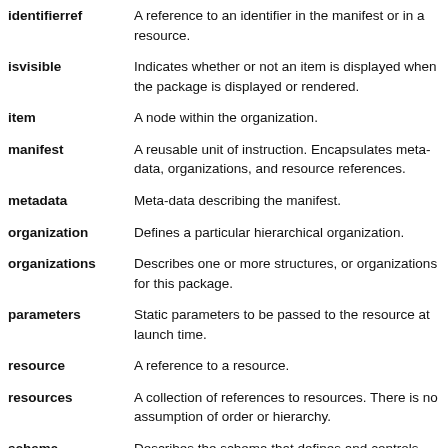identifierref — A reference to an identifier in the manifest or in a resource.
isvisible — Indicates whether or not an item is displayed when the package is displayed or rendered.
item — A node within the organization.
manifest — A reusable unit of instruction. Encapsulates meta-data, organizations, and resource references.
metadata — Meta-data describing the manifest.
organization — Defines a particular hierarchical organization.
organizations — Describes one or more structures, or organizations for this package.
parameters — Static parameters to be passed to the resource at launch time.
resource — A reference to a resource.
resources — A collection of references to resources. There is no assumption of order or hierarchy.
schema — Describes the schema that defines and controls the manifest.